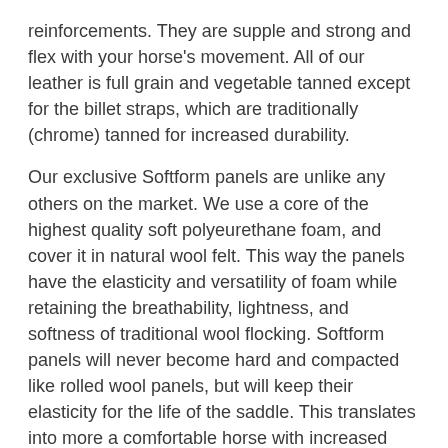reinforcements. They are supple and strong and flex with your horse's movement. All of our leather is full grain and vegetable tanned except for the billet straps, which are traditionally (chrome) tanned for increased durability.
Our exclusive Softform panels are unlike any others on the market. We use a core of the highest quality soft polyeurethane foam, and cover it in natural wool felt. This way the panels have the elasticity and versatility of foam while retaining the breathability, lightness, and softness of traditional wool flocking. Softform panels will never become hard and compacted like rolled wool panels, but will keep their elasticity for the life of the saddle. This translates into more a comfortable horse with increased freedom of movement through the shoulders.
Our saddle designs are completely customizable as well. If you like a certain model but would prefer a monoflap version covered in premium calfskin, with bigger thigh blocks, and a deeper seat; consider it done.
Most of our customizations are free of charge. Even our accessories can be made to measure if you have a special request.Our company is based on the traditional values of